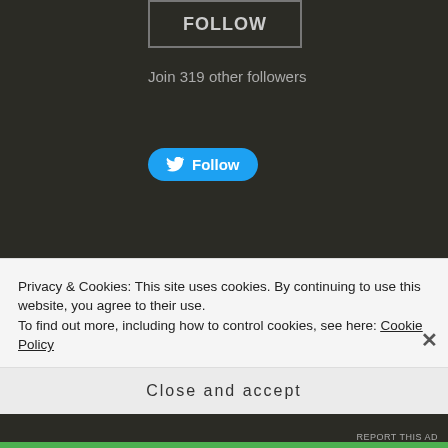[Figure (screenshot): FOLLOW button with border on dark background]
Join 319 other followers
[Figure (screenshot): Twitter Follow button (blue, rounded)]
[Figure (screenshot): WordPress Follow My Food Stories button with count 87]
Privacy & Cookies: This site uses cookies. By continuing to use this website, you agree to their use.
To find out more, including how to control cookies, see here: Cookie Policy
Close and accept